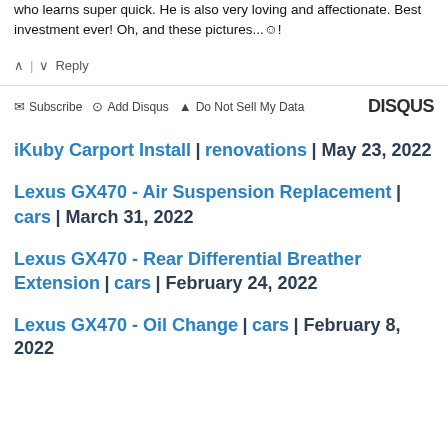who learns super quick. He is also very loving and affectionate. Best investment ever! Oh, and these pictures...☺!
^ | v  Reply
✉ Subscribe  ⊙ Add Disqus  ▲ Do Not Sell My Data  DISQUS
iKuby Carport Install | renovations | May 23, 2022
Lexus GX470 - Air Suspension Replacement | cars | March 31, 2022
Lexus GX470 - Rear Differential Breather Extension | cars | February 24, 2022
Lexus GX470 - Oil Change | cars | February 8, 2022